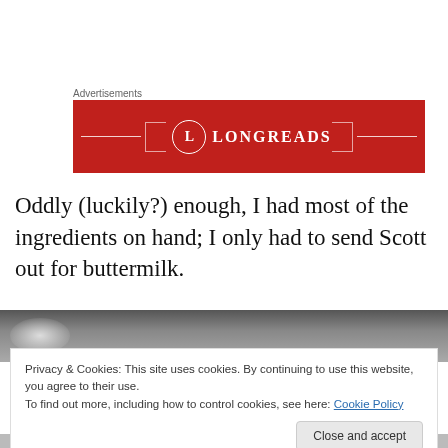Advertisements
[Figure (logo): Longreads advertisement banner — red background with the Longreads logo (circle with L, decorative bracket lines, and LONGREADS text)]
Oddly (luckily?) enough, I had most of the ingredients on hand; I only had to send Scott out for buttermilk.
[Figure (photo): Partial photo of a kitchen scene, a metal bowl visible, background blurred]
Privacy & Cookies: This site uses cookies. By continuing to use this website, you agree to their use.
To find out more, including how to control cookies, see here: Cookie Policy
Close and accept